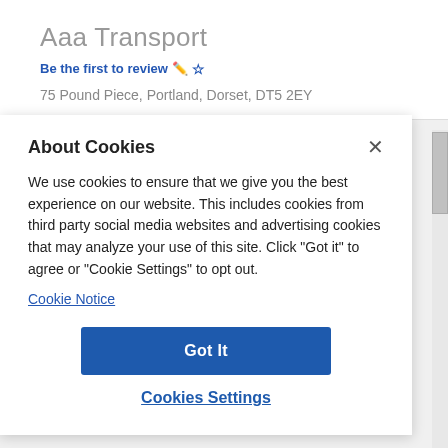Aaa Transport
Be the first to review ✏️☆
75 Pound Piece, Portland, Dorset, DT5 2EY
About Cookies
We use cookies to ensure that we give you the best experience on our website. This includes cookies from third party social media websites and advertising cookies that may analyze your use of this site. Click "Got it" to agree or "Cookie Settings" to opt out.
Cookie Notice
Got It
Cookies Settings